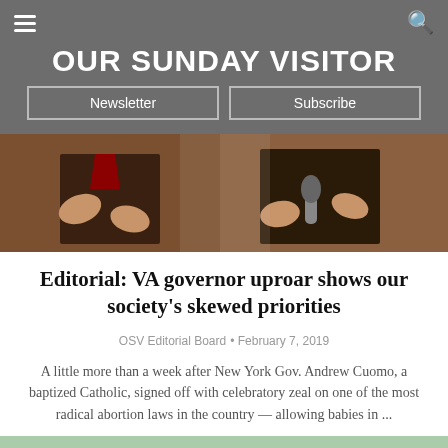OUR SUNDAY VISITOR
[Figure (photo): Two people gesturing with hands, one wearing a red tie, photographed from torso down]
Editorial: VA governor uproar shows our society's skewed priorities
OSV Editorial Board • February 7, 2019
A little more than a week after New York Gov. Andrew Cuomo, a baptized Catholic, signed off with celebratory zeal on one of the most radical abortion laws in the country — allowing babies in ...
[Figure (photo): Group of protesters holding signs including ABORTION IS MURDER and Life signs, outdoors with trees in background]